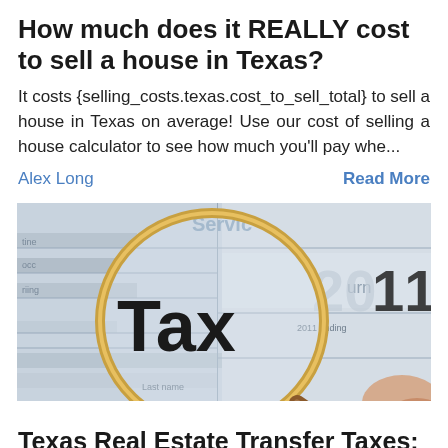How much does it REALLY cost to sell a house in Texas?
It costs {selling_costs.texas.cost_to_sell_total} to sell a house in Texas on average! Use our cost of selling a house calculator to see how much you'll pay whe...
Alex Long · Read More
[Figure (photo): A photo of a magnifying glass focusing on the word 'Tax' on a tax return form, with '2011' visible in background and 'Servic' (partial) text at top.]
Texas Real Estate Transfer Taxes: An In-Depth Guide